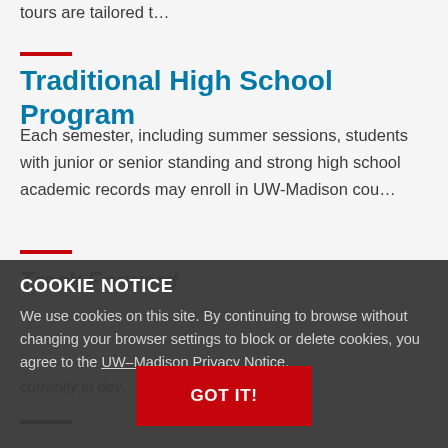tours are tailored t…
Traditional High School Program
Each semester, including summer sessions, students with junior or senior standing and strong high school academic records may enroll in UW-Madison cou…
Track Forward
COOKIE NOTICE
We use cookies on this site. By continuing to browse without changing your browser settings to block or delete cookies, you agree to the UW–Madison Privacy Notice.
currently in dev…
GOT IT!